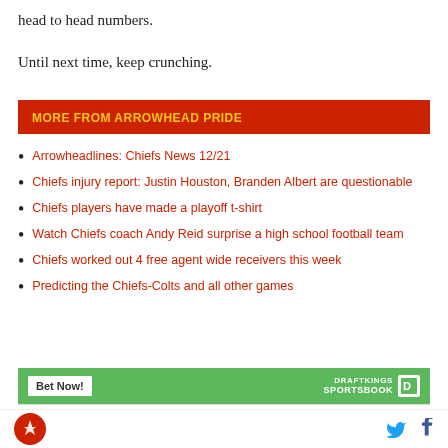head to head numbers.
Until next time, keep crunching.
MORE FROM ARROWHEAD PRIDE
Arrowheadlines: Chiefs News 12/21
Chiefs injury report: Justin Houston, Branden Albert are questionable
Chiefs players have made a playoff t-shirt
Watch Chiefs coach Andy Reid surprise a high school football team
Chiefs worked out 4 free agent wide receivers this week
Predicting the Chiefs-Colts and all other games
[Figure (infographic): DraftKings Sportsbook advertisement banner with green background, Bet Now button, and DraftKings logo]
Patrick Mahomes
Arrowhead Pride logo and social sharing icons for Twitter and Facebook